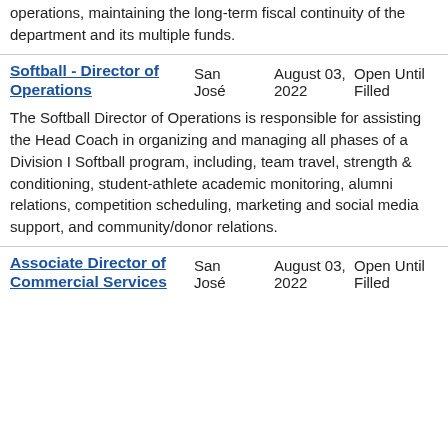operations, maintaining the long-term fiscal continuity of the department and its multiple funds.
Softball - Director of Operations
San José
August 03, 2022
Open Until Filled
The Softball Director of Operations is responsible for assisting the Head Coach in organizing and managing all phases of a Division I Softball program, including, team travel, strength & conditioning, student-athlete academic monitoring, alumni relations, competition scheduling, marketing and social media support, and community/donor relations.
Associate Director of Commercial Services
San José
August 03, 2022
Open Until Filled